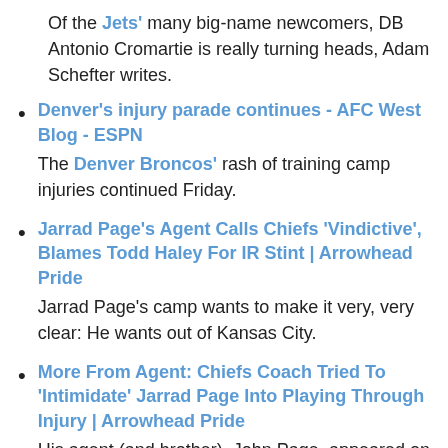Of the Jets' many big-name newcomers, DB Antonio Cromartie is really turning heads, Adam Schefter writes.
Denver's injury parade continues - AFC West Blog - ESPN
The Denver Broncos' rash of training camp injuries continued Friday.
Jarrad Page's Agent Calls Chiefs 'Vindictive', Blames Todd Haley For IR Stint | Arrowhead Pride
Jarrad Page's camp wants to make it very, very clear: He wants out of Kansas City.
More From Agent: Chiefs Coach Tried To 'Intimidate' Jarrad Page Into Playing Through Injury | Arrowhead Pride
His agent (and brother), John Page, appeared on